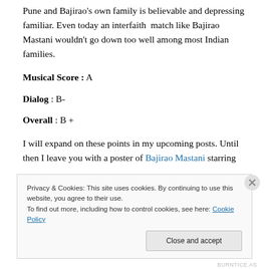Pune and Bajirao's own family is believable and depressing familiar. Even today an interfaith match like Bajirao Mastani wouldn't go down too well among most Indian families.
Musical Score : A
Dialog : B-
Overall : B +
I will expand on these points in my upcoming posts. Until then I leave you with a poster of Bajirao Mastani starring
Privacy & Cookies: This site uses cookies. By continuing to use this website, you agree to their use.
To find out more, including how to control cookies, see here: Cookie Policy
BURNTICE.AS